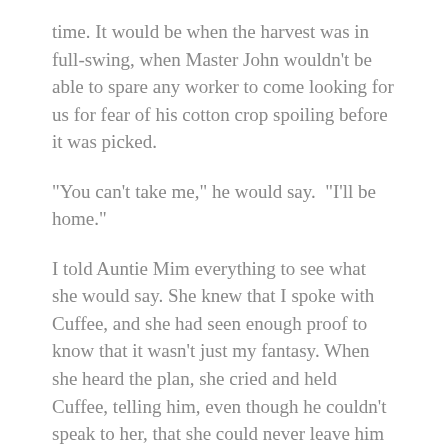time. It would be when the harvest was in full-swing, when Master John wouldn't be able to spare any worker to come looking for us for fear of his cotton crop spoiling before it was picked.
“You can’t take me,” he would say.  “I’ll be home.”
I told Auntie Mim everything to see what she would say. She knew that I spoke with Cuffee, and she had seen enough proof to know that it wasn’t just my fantasy. When she heard the plan, she cried and held Cuffee, telling him, even though he couldn’t speak to her, that she could never leave him behind.
After that, Cuffee mentioned “going home” almost every time we spoke.
On the day that Auntie Mim found me and Cuffee on the